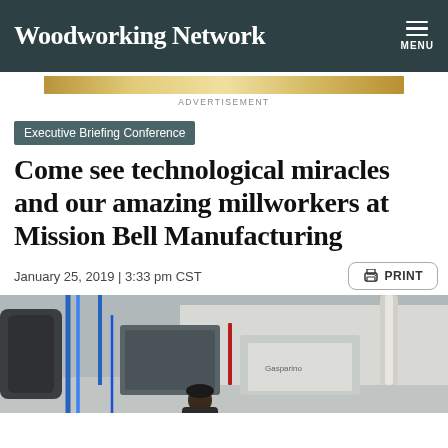Woodworking Network
[Figure (other): Advertisement banner image strip]
ADVERTISEMENT
Executive Briefing Conference
Come see technological miracles and our amazing millworkers at Mission Bell Manufacturing
January 25, 2019 | 3:33 pm CST
[Figure (photo): Industrial manufacturing facility interior showing factory equipment including pipes, blue hoses, and machinery. A worker is partially visible in the lower portion of the image.]